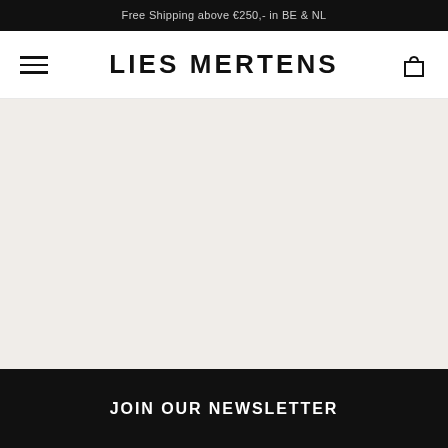Free Shipping above €250,- in BE & NL
LIES MERTENS
[Figure (illustration): Large empty light beige/off-white content area placeholder]
JOIN OUR NEWSLETTER